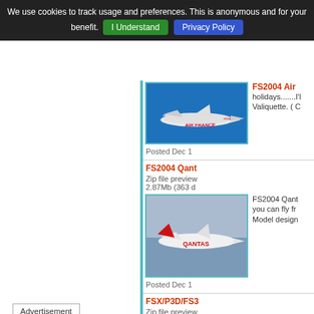We use cookies to track usage and preferences. This is anonymous and for your benefit. I Understand  Privacy Policy
[Figure (photo): Air France Airbus aircraft in flight against blue sky background]
FS2004  Air holidays.......I'l Valiquette. ( C
Posted Dec 1
FS2004 Qant
Zip file preview 2.87Mb (363 d
[Figure (photo): Qantas Airbus aircraft in flight against blue-grey sky]
FS2004 Qant you can fly fr Model design
Posted Dec 1
FSX/P3D/FS3
Zip file preview 10.35Mb (313
[Figure (photo): Project Airbus A320 Ural Airlines livery screenshot]
FS9/FSX  Pro freeware Pro products on S
Advertisement